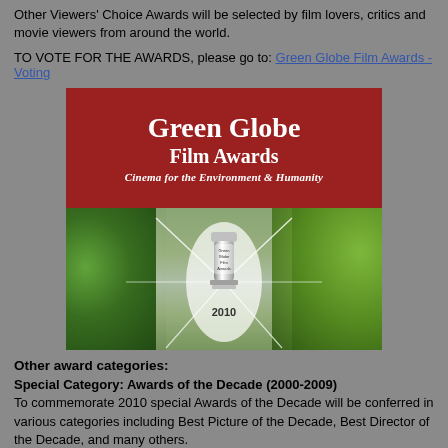Other Viewers' Choice Awards will be selected by film lovers, critics and movie viewers from around the world.
TO VOTE FOR THE AWARDS, please go to: Green Globe Film Awards - Voting
[Figure (illustration): Green Globe Film Awards banner image with red header showing 'Green Globe Film Awards - Cinema for the Environment & Humanity' and a photo of trees with a glowing trophy statuette and the year 2010]
Other award categories:
Special Category: Awards of the Decade (2000-2009)
To commemorate 2010 special Awards of the Decade will be conferred in various categories including Best Picture of the Decade, Best Director of the Decade, and many others.